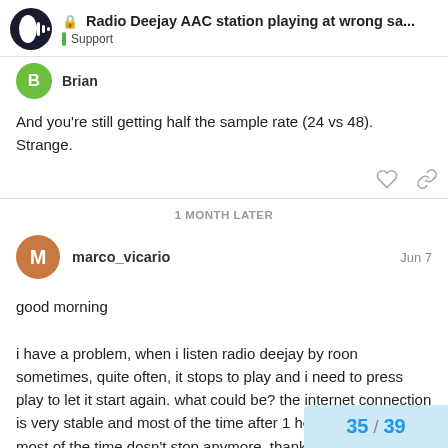Radio Deejay AAC station playing at wrong sa... | Support
Brian
And you're still getting half the sample rate (24 vs 48). Strange.
1 MONTH LATER
marco_vicario — Jun 7
good morning

i have a problem, when i listen radio deejay by roon sometimes, quite often, it stops to play and i need to press play to let it start again. what could be? the internet connection is very stable and most of the time after 1 hour playing about most of the time dosn't stop anymore. thank you
35 / 39